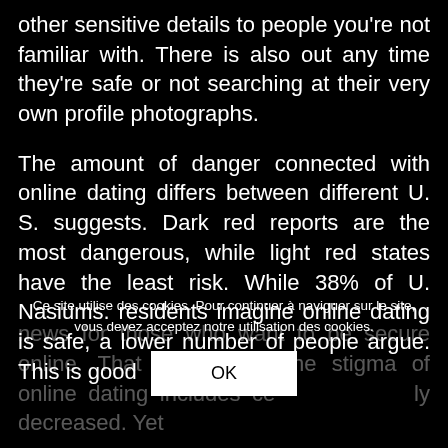other sensitive details to people you're not familiar with. There is also out any time they're safe or not searching at their very own profile photographs.
The amount of danger connected with online dating differs between different U. S. suggests. Dark red reports are the most dangerous, while light red states have the least risk. While 38% of U. Nasiums. residents imagine online dating is safe, a lower number of people argue. This is good news for those who want to be secure online. That shows that the stigma of online dating includes considerably decreased. Yet
Ce site utilise des cookies. Pour continuer à naviguer sur le site, vous devez acceptez notre utilisation des cookies.
OK